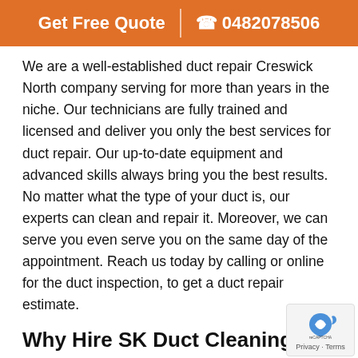Get Free Quote  | ☎ 0482078506
We are a well-established duct repair Creswick North company serving for more than years in the niche. Our technicians are fully trained and licensed and deliver you only the best services for duct repair. Our up-to-date equipment and advanced skills always bring you the best results. No matter what the type of your duct is, our experts can clean and repair it. Moreover, we can serve you even serve you on the same day of the appointment. Reach us today by calling or online for the duct inspection, to get a duct repair estimate.
Why Hire SK Duct Cleaning?
10 years of experience in duct repair.
Industry's best tools and techniques
All types of duct cleaning and duct servicing